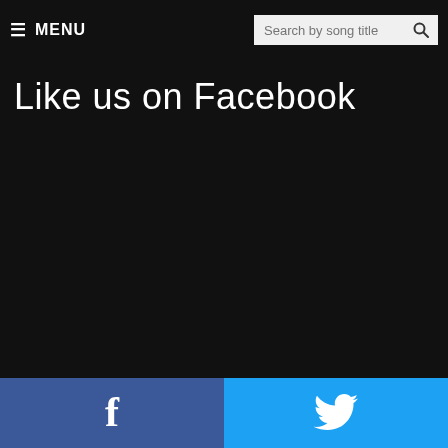≡ MENU | Search by song title
Like us on Facebook
[Figure (screenshot): Dark background content area, mostly empty black space]
Facebook share button | Twitter share button